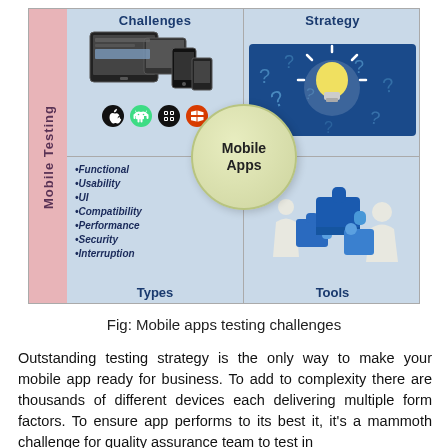[Figure (infographic): Mobile Testing infographic with 4 quadrants: Challenges (top-left, showing devices and OS icons), Strategy (top-right, showing light bulb with question marks), Types (bottom-left, listing Functional, Usability, UI, Compatibility, Performance, Security, Interruption), Tools (bottom-right, showing puzzle piece figures). Central circle labeled 'Mobile Apps'. Left side bar labeled 'Mobile Testing'.]
Fig: Mobile apps testing challenges
Outstanding testing strategy is the only way to make your mobile app ready for business. To add to complexity there are thousands of different devices each delivering multiple form factors. To ensure app performs to its best it, it's a mammoth challenge for quality assurance team to test in